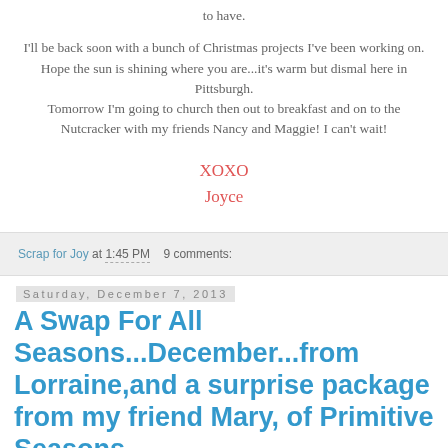to have.
I'll be back soon with a bunch of Christmas projects I've been working on. Hope the sun is shining where you are...it's warm but dismal here in Pittsburgh. Tomorrow I'm going to church then out to breakfast and on to the Nutcracker with my friends Nancy and Maggie! I can't wait!
XOXO
Joyce
Scrap for Joy at 1:45 PM   9 comments:
Saturday, December 7, 2013
A Swap For All Seasons...December...from Lorraine,and a surprise package from my friend Mary, of Primitive Seasons